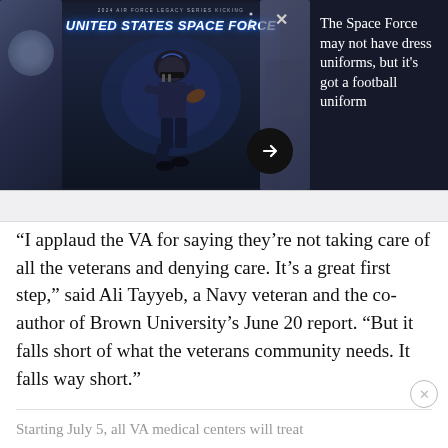[Figure (photo): Dark-themed promotional image showing United States Space Force football uniform with a player in dark gear, text 'UNITED STATES SPACE FORCE' displayed prominently, with navigation controls (three dots, X close button, right arrow)]
The Space Force may not have dress uniforms, but it's got a football uniform
“I applaud the VA for saying they’re not taking care of all the veterans and denying care. It’s a great first step,” said Ali Tayyeb, a Navy veteran and the co-author of Brown University’s June 20 report. “But it falls short of what the veterans community needs. It falls way short.”
Starting July 5, all VA medical centers will treat